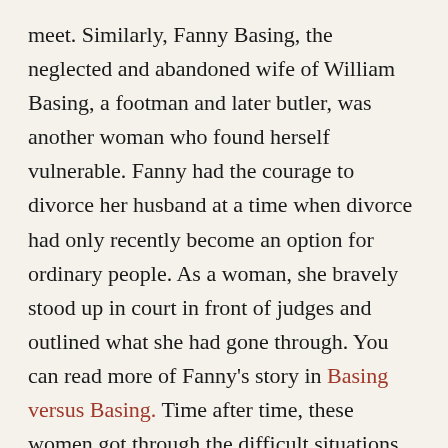meet. Similarly, Fanny Basing, the neglected and abandoned wife of William Basing, a footman and later butler, was another woman who found herself vulnerable. Fanny had the courage to divorce her husband at a time when divorce had only recently become an option for ordinary people. As a woman, she bravely stood up in court in front of judges and outlined what she had gone through. You can read more of Fanny's story in Basing versus Basing. Time after time, these women got through the difficult situations that they found themselves in.
We can also be inspired by the bravery of those would fought for their country. My father's brother,